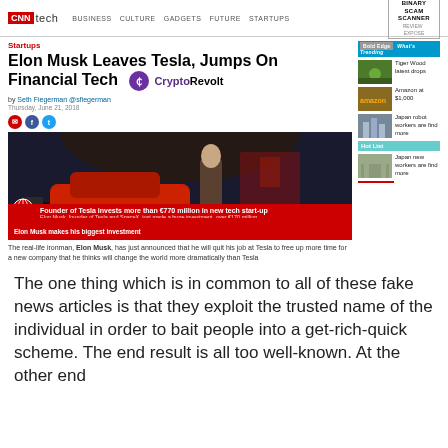CNN tech | BUSINESS CULTURE GADGETS FUTURE STARTUPS
Startups
Elon Musk Leaves Tesla, Jumps On Financial Tech
[Figure (logo): CryptoRevolt logo with purple circle icon and brand name]
by Seth Fiegerman @sfiegerman
Thursday, June 21, 2018
[Figure (photo): Elon Musk standing on stage at a Tesla event next to a red Tesla car. Overlay caption: Founder of Tesla invests more than €770 million in new tech start-up. Elon Musk, founder of Tesla and SpaceX, just made a huge investment, over €170 million. Bottom bar: Elon Musk makes his biggest investment]
The real-life ironman, Elon Musk, has just announced that he will quit his job at Tesla to free up more time for a new company that he thinks will change the world more dramatically than Tesla
The one thing which is in common to all of these fake news articles is that they exploit the trusted name of the individual in order to bait people into a get-rich-quick scheme. The end result is all too well-known. At the other end